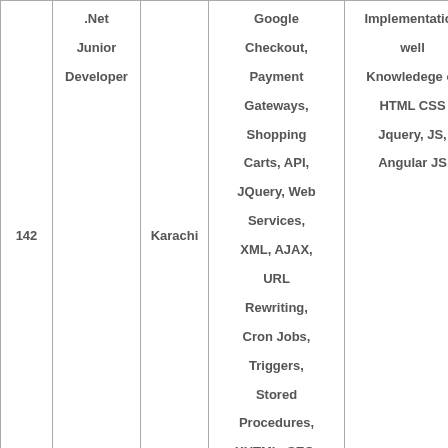| 142 | .Net
Junior
Developer | Karachi | Google Checkout, Payment Gateways, Shopping Carts, API, JQuery, Web Services, XML, AJAX, URL Rewriting, Cron Jobs, Triggers, Stored Procedures, XHTML, SEO, | Implementation well
Knowledege of HTML CSS Jquery, JS, Angular JS | 2-3 |